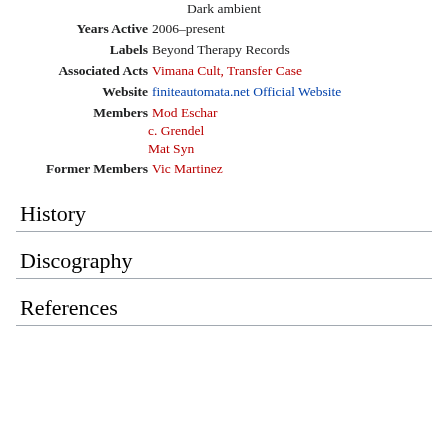Dark ambient
Years Active 2006–present
Labels Beyond Therapy Records
Associated Acts Vimana Cult, Transfer Case
Website finiteautomata.net Official Website
Members Mod Eschar
c. Grendel
Mat Syn
Former Members Vic Martinez
History
Discography
References